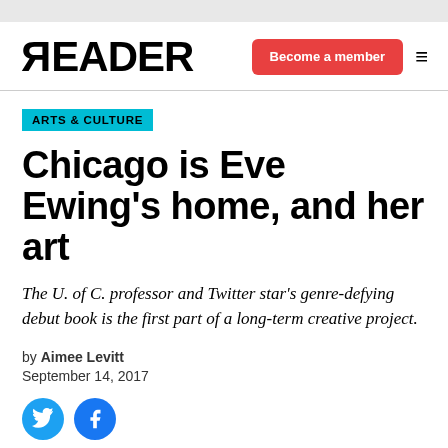READER — Become a member
ARTS & CULTURE
Chicago is Eve Ewing's home, and her art
The U. of C. professor and Twitter star's genre-defying debut book is the first part of a long-term creative project.
by Aimee Levitt
September 14, 2017
[Figure (illustration): Twitter and Facebook social share icons (circular blue buttons)]